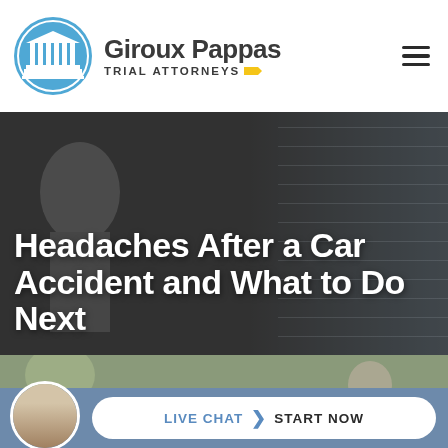Giroux Pappas Trial Attorneys
Headaches After a Car Accident and What to Do Next
[Figure (photo): Background photo of car accident scene with American flag visible on the right side, dark overlay]
[Figure (photo): Bottom strip photo showing car accident scene with person holding head]
LIVE CHAT START NOW